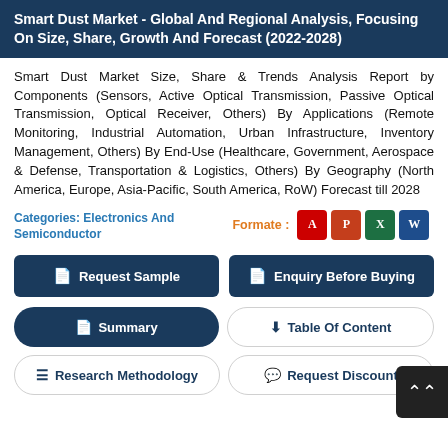Smart Dust Market - Global And Regional Analysis, Focusing On Size, Share, Growth And Forecast (2022-2028)
Smart Dust Market Size, Share & Trends Analysis Report by Components (Sensors, Active Optical Transmission, Passive Optical Transmission, Optical Receiver, Others) By Applications (Remote Monitoring, Industrial Automation, Urban Infrastructure, Inventory Management, Others) By End-Use (Healthcare, Government, Aerospace & Defense, Transportation & Logistics, Others) By Geography (North America, Europe, Asia-Pacific, South America, RoW) Forecast till 2028
Categories: Electronics And Semiconductor
Formate : [Access] [PPT] [Excel] [Word]
Request Sample
Enquiry Before Buying
Summary
Table Of Content
Research Methodology
Request Discount